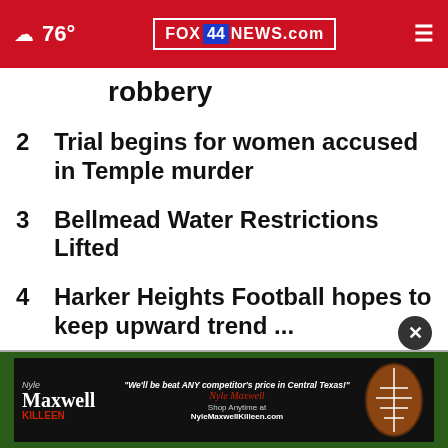76° FOX 44 NEWS.com
robbery
2  Trial begins for women accused in Temple murder
3  Bellmead Water Restrictions Lifted
4  Harker Heights Football hopes to keep upward trend ...
5  Man charged with trafficking 13-year-old girl
[Figure (photo): Maxwell Killeen advertisement banner with football image and text: We'll be beat ANY competitor's price in Central Texas! Shop Anytime at NyleMaxwellKilleen.com]